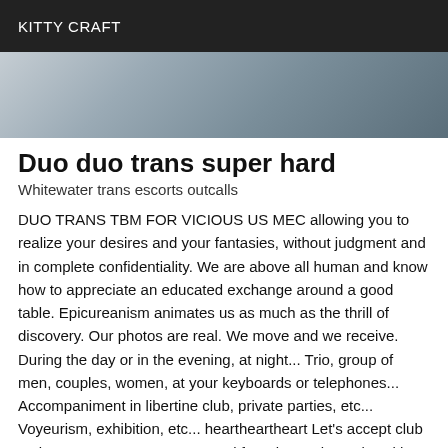KITTY CRAFT
[Figure (photo): Partial photo showing a person near a surface, cropped at the top of the content area]
Duo duo trans super hard
Whitewater trans escorts outcalls
DUO TRANS TBM FOR VICIOUS US MEC allowing you to realize your desires and your fantasies, without judgment and in complete confidentiality. We are above all human and know how to appreciate an educated exchange around a good table. Epicureanism animates us as much as the thrill of discovery. Our photos are real. We move and we receive. During the day or in the evening, at night... Trio, group of men, couples, women, at your keyboards or telephones... Accompaniment in libertine club, private parties, etc... Voyeurism, exhibition, etc... heartheartheart Let's accept club outings. announcement reserved for educated people, with good manners and a lot of elegance.